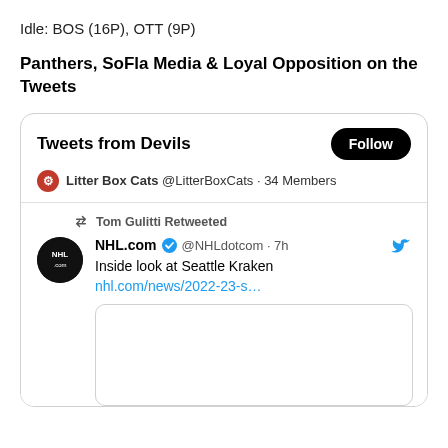Idle: BOS (16P), OTT (9P)
Panthers, SoFla Media & Loyal Opposition on the Tweets
[Figure (screenshot): Embedded Twitter/X widget showing 'Tweets from Devils' with a Follow button, Litter Box Cats @LitterBoxCats · 34 Members, and a retweeted post by NHL.com @NHLdotcom · 7h: 'Inside look at Seattle Kraken nhl.com/news/2022-23-s...' with an image placeholder below.]